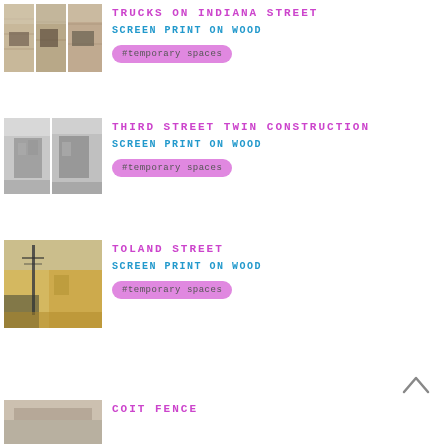[Figure (photo): Thumbnail image of 'Trucks on Indiana Street' screen print on wood artwork - triptych panels showing trucks in sepia tones]
TRUCKS ON INDIANA STREET
SCREEN PRINT ON WOOD
#temporary spaces
[Figure (photo): Thumbnail image of 'Third Street Twin Construction' screen print on wood artwork - diptych panels showing construction buildings in black and white]
THIRD STREET TWIN CONSTRUCTION
SCREEN PRINT ON WOOD
#temporary spaces
[Figure (photo): Thumbnail image of 'Toland Street' screen print on wood artwork - showing a street scene with warm yellow tones and a utility pole]
TOLAND STREET
SCREEN PRINT ON WOOD
#temporary spaces
[Figure (photo): Partial thumbnail image of 'Coit Fence' artwork at bottom of page]
COIT FENCE